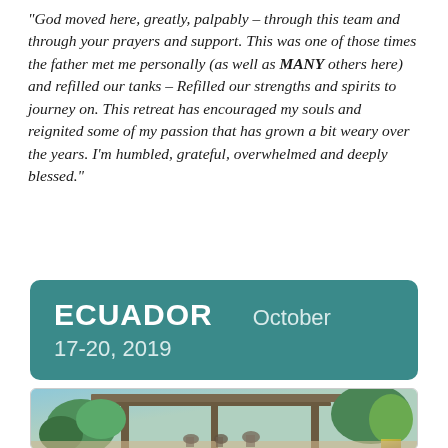"God moved here, greatly, palpably – through this team and through your prayers and support. This was one of those times the father met me personally (as well as MANY others here) and refilled our tanks – Refilled our strengths and spirits to journey on. This retreat has encouraged my souls and reignited some of my passion that has grown a bit weary over the years. I'm humbled, grateful, overwhelmed and deeply blessed."
ECUADOR   October 17-20, 2019
[Figure (photo): Outdoor venue or retreat center with tropical plants, a covered wooden structure/pavilion, and people gathered. Lush greenery including large leafy plants and what appears to be a topiary or decorative plant. Photo taken in Ecuador.]